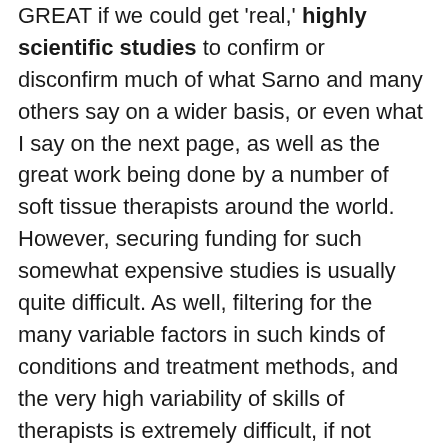GREAT if we could get 'real,' highly scientific studies to confirm or disconfirm much of what Sarno and many others say on a wider basis, or even what I say on the next page, as well as the great work being done by a number of soft tissue therapists around the world. However, securing funding for such somewhat expensive studies is usually quite difficult. As well, filtering for the many variable factors in such kinds of conditions and treatment methods, and the very high variability of skills of therapists is extremely difficult, if not impossible.
One dose of a drug can be manufactured to be nearly identical to all other doses of the same drug. So their effects can be measured rather precisely. But not all therapists, nor their techniques, are created even close to equal. And one, for example, neuromuscular therapist, with the SAME training, is most likely to produce VERY different experiences than another.